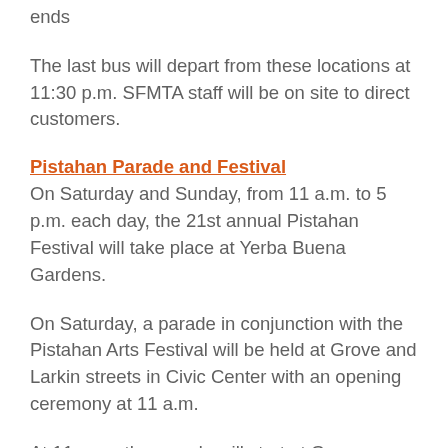ends
The last bus will depart from these locations at 11:30 p.m. SFMTA staff will be on site to direct customers.
Pistahan Parade and Festival
On Saturday and Sunday, from 11 a.m. to 5 p.m. each day, the 21st annual Pistahan Festival will take place at Yerba Buena Gardens.
On Saturday, a parade in conjunction with the Pistahan Arts Festival will be held at Grove and Larkin streets in Civic Center with an opening ceremony at 11 a.m.
At 11 a.m., the parade will start at Grove Street, proceed east on Market Street, south to 4th Street and into Yerba Buena Gardens, where the Pistahan Festival will be held on Saturday and Sunday.